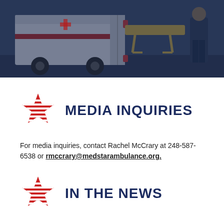[Figure (photo): Ambulance scene with paramedic loading a gurney, dark blue overlay tint]
[Figure (logo): Red star with horizontal stripes logo next to MEDIA INQUIRIES heading]
MEDIA INQUIRIES
For media inquiries, contact Rachel McCrary at 248-587-6538 or rmccrary@medstarambulance.org.
[Figure (logo): Red star with horizontal stripes logo next to IN THE NEWS heading]
IN THE NEWS